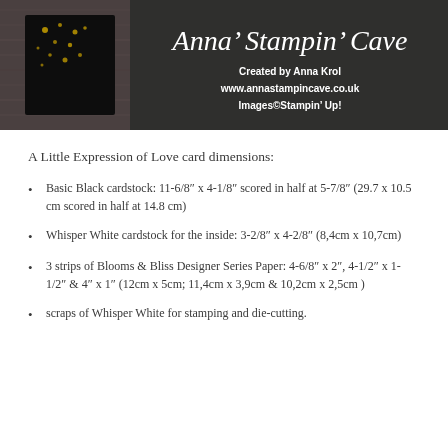[Figure (photo): Header banner photo of Anna's Stampin' Cave blog. Dark background with wooden texture and a black card with gold dots. Cursive text reads 'Anna's Stampin' Cave'. Below: 'Created by Anna Krol', 'www.annastampincave.co.uk', 'Images©Stampin' Up!']
A Little Expression of Love card dimensions:
Basic Black cardstock: 11-6/8" x 4-1/8" scored in half at 5-7/8" (29.7 x 10.5 cm scored in half at 14.8 cm)
Whisper White cardstock for the inside: 3-2/8" x 4-2/8" (8,4cm x 10,7cm)
3 strips of Blooms & Bliss Designer Series Paper: 4-6/8" x 2", 4-1/2" x 1-1/2" & 4" x 1" (12cm x 5cm; 11,4cm x 3,9cm & 10,2cm x 2,5cm )
scraps of Whisper White for stamping and die-cutting.